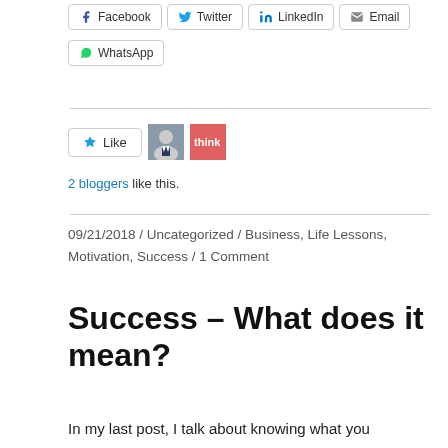[Figure (screenshot): Social share buttons row: Facebook, Twitter, LinkedIn, Email]
[Figure (screenshot): WhatsApp share button]
[Figure (illustration): Like button with star icon, two blogger avatar thumbnails]
2 bloggers like this.
09/21/2018 / Uncategorized / Business, Life Lessons, Motivation, Success / 1 Comment
Success – What does it mean?
In my last post, I talk about knowing what you